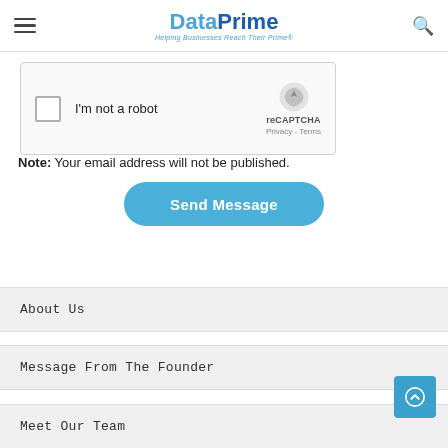DataPrime — Helping Businesses Reach Their Prime
[Figure (screenshot): reCAPTCHA widget with checkbox labeled 'I'm not a robot']
Note: Your email address will not be published.
Send Message
About Us
Message From The Founder
Meet Our Team